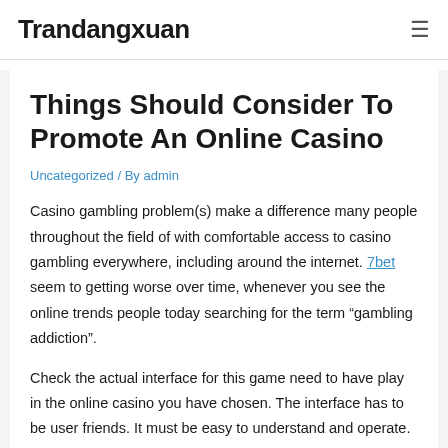Trandangxuan
Things Should Consider To Promote An Online Casino
Uncategorized / By admin
Casino gambling problem(s) make a difference many people throughout the field of with comfortable access to casino gambling everywhere, including around the internet. 7bet seem to getting worse over time, whenever you see the online trends people today searching for the term “gambling addiction”.
Check the actual interface for this game need to have play in the online casino you have chosen. The interface has to be user friends. It must be easy to understand and operate. You cannot